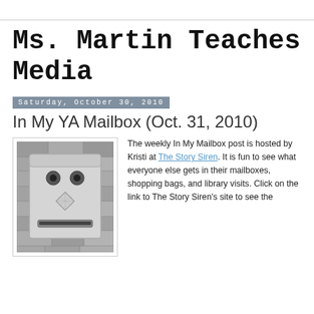Ms. Martin Teaches Media
Saturday, October 30, 2010
In My YA Mailbox (Oct. 31, 2010)
[Figure (photo): Black and white photo of a wall-mounted mailbox on a stone brick wall, the mailbox appears to have a face-like appearance with two circular holes as eyes, a diamond-shaped mail slot area, and a rectangular mail slot at the bottom.]
The weekly In My Mailbox post is hosted by Kristi at The Story Siren. It is fun to see what everyone else gets in their mailboxes, shopping bags, and library visits. Click on the link to The Story Siren's site to see the